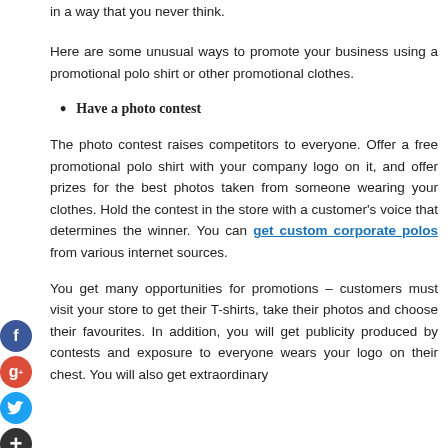in a way that you never think.
Here are some unusual ways to promote your business using a promotional polo shirt or other promotional clothes.
Have a photo contest
The photo contest raises competitors to everyone. Offer a free promotional polo shirt with your company logo on it, and offer prizes for the best photos taken from someone wearing your clothes. Hold the contest in the store with a customer's voice that determines the winner. You can get custom corporate polos from various internet sources.
You get many opportunities for promotions – customers must visit your store to get their T-shirts, take their photos and choose their favourites. In addition, you will get publicity produced by contests and exposure to everyone wears your logo on their chest. You will also get extraordinary